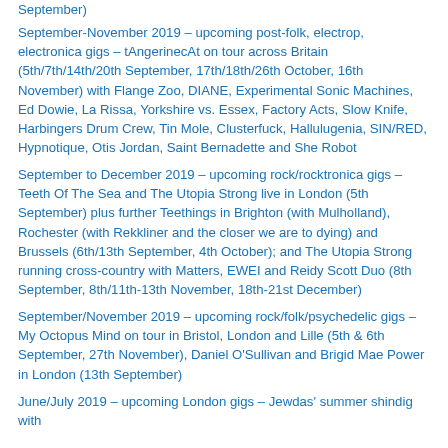September)
September-November 2019 – upcoming post-folk, electrop, electronica gigs – tAngerinecAt on tour across Britain (5th/7th/14th/20th September, 17th/18th/26th October, 16th November) with Flange Zoo, DIANE, Experimental Sonic Machines, Ed Dowie, La Rissa, Yorkshire vs. Essex, Factory Acts, Slow Knife, Harbingers Drum Crew, Tin Mole, Clusterfuck, Hallulugenia, SIN/RED, Hypnotique, Otis Jordan, Saint Bernadette and She Robot
September to December 2019 – upcoming rock/rocktronica gigs – Teeth Of The Sea and The Utopia Strong live in London (5th September) plus further Teethings in Brighton (with Mulholland), Rochester (with Rekkliner and the closer we are to dying) and Brussels (6th/13th September, 4th October); and The Utopia Strong running cross-country with Matters, EWEI and Reidy Scott Duo (8th September, 8th/11th-13th November, 18th-21st December)
September/November 2019 – upcoming rock/folk/psychedelic gigs – My Octopus Mind on tour in Bristol, London and Lille (5th & 6th September, 27th November), Daniel O'Sullivan and Brigid Mae Power in London (13th September)
June/July 2019 – upcoming London gigs – Jewdas' summer shindig with